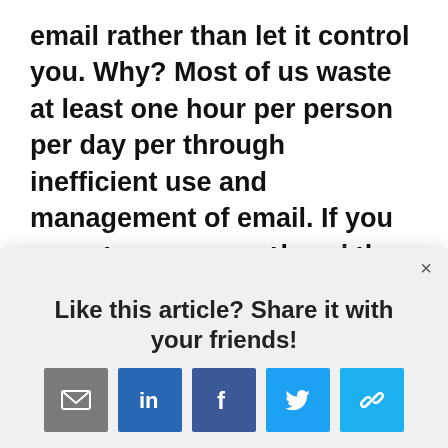email rather than let it control you. Why? Most of us waste at least one hour per person per day per through inefficient use and management of email. If you manage someone elses inbox you can double that time wasted!
Based on a 40 week working year (and average fo...
[Figure (screenshot): A modal dialog overlay with a close (×) button in the top right, a bold heading 'Like this article? Share it with your friends!' and five social sharing icon buttons: email (grey envelope), LinkedIn (blue 'in'), Facebook (dark blue 'f'), Twitter (blue bird), and a link/share icon (light blue chain links).]